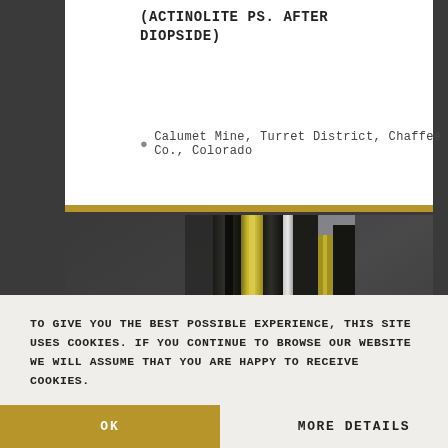(ACTINOLITE PS. AFTER DIOPSIDE)
Calumet Mine, Turret District, Chaffee Co., Colorado
[Figure (photo): Close-up photograph of dark prismatic mineral crystals (actinolite pseudomorph after diopside) with yellowish-green luster on a grey background, with small white quartz crystals at the base.]
TO GIVE YOU THE BEST POSSIBLE EXPERIENCE, THIS SITE USES COOKIES. IF YOU CONTINUE TO BROWSE OUR WEBSITE WE WILL ASSUME THAT YOU ARE HAPPY TO RECEIVE COOKIES.
OK
MORE DETAILS